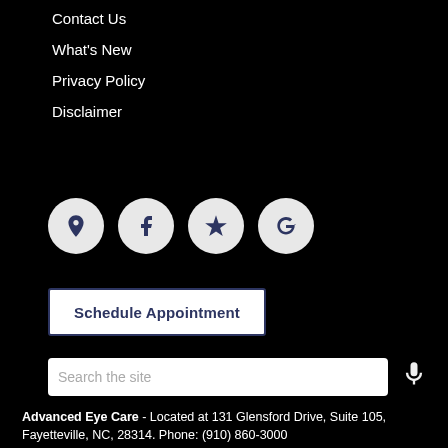Contact Us
What's New
Privacy Policy
Disclaimer
[Figure (other): Four circular social media / map icons: location pin, Facebook, Yelp, Google]
Schedule Appointment
Search the site
Advanced Eye Care - Located at 131 Glensford Drive, Suite 105, Fayetteville, NC, 28314. Phone: (910) 860-3000